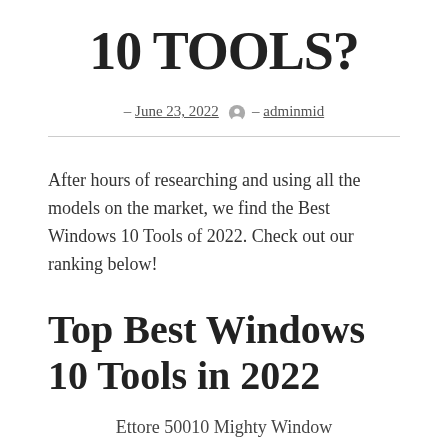10 TOOLS?
– June 23, 2022 – adminmid
After hours of researching and using all the models on the market, we find the Best Windows 10 Tools of 2022. Check out our ranking below!
Top Best Windows 10 Tools in 2022
Ettore 50010 Mighty Window